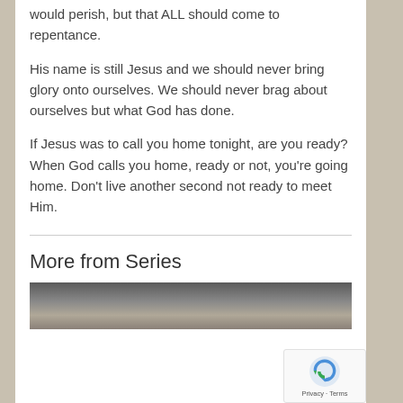would perish, but that ALL should come to repentance.
His name is still Jesus and we should never bring glory onto ourselves. We should never brag about ourselves but what God has done.
If Jesus was to call you home tonight, are you ready? When God calls you home, ready or not, you're going home. Don't live another second not ready to meet Him.
More from Series
[Figure (photo): Partial thumbnail image at bottom of page, showing the top of a person's head]